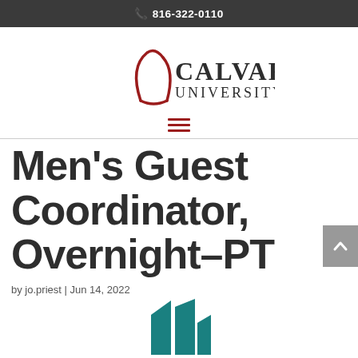816-322-0110
[Figure (logo): Calvary University logo with red stylized cross/arch and dark serif text reading CALVARY UNIVERSITY]
Men's Guest Coordinator, Overnight–PT
by jo.priest | Jun 14, 2022
[Figure (illustration): Partial teal/dark teal geometric house/building icon visible at bottom of page]